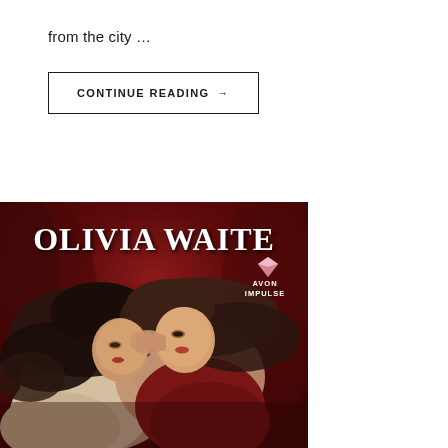from the city …
CONTINUE READING →
[Figure (illustration): Book cover for Olivia Waite showing two women in a romantic pose against a deep red background, with 'OLIVIA WAITE' in large serif text at the top and the Avon Impulse logo in the upper right.]